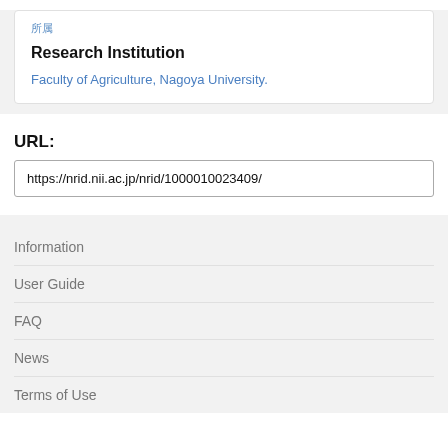所属
Research Institution
Faculty of Agriculture, Nagoya University.
URL:
https://nrid.nii.ac.jp/nrid/1000010023409/
Information
User Guide
FAQ
News
Terms of Use